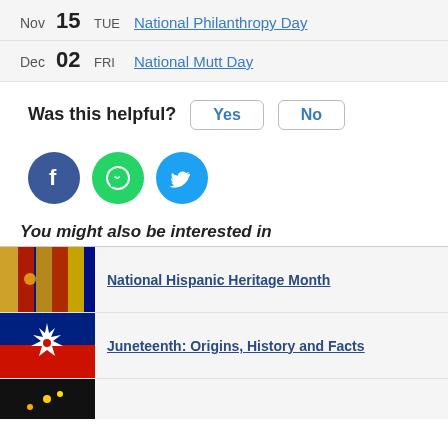| Month | Day | DOW | Holiday |
| --- | --- | --- | --- |
| Nov | 15 | TUE | National Philanthropy Day |
| Dec | 02 | FRI | National Mutt Day |
Was this helpful? Yes No
[Figure (illustration): Social share icons: Facebook (blue circle), WhatsApp (green circle), Twitter (cyan circle)]
You might also be interested in
[Figure (photo): Photo of colorful flags including Colombian and Spanish flags]
National Hispanic Heritage Month
[Figure (illustration): Juneteenth flag illustration: blue and red fields with white star burst]
Juneteenth: Origins, History and Facts